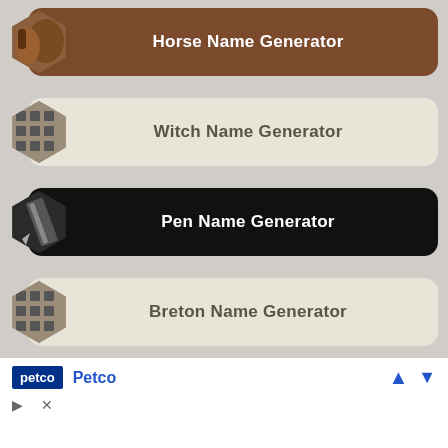[Figure (screenshot): List of name generator links: Horse Name Generator (brown), Witch Name Generator (beige), Pen Name Generator (black), Breton Name Generator (beige), Random Date Generator (light purple), Greek Name Generator (partially visible), with Petco ad overlay at bottom]
Horse Name Generator
Witch Name Generator
Pen Name Generator
Breton Name Generator
Random Date Generator
Greek Name Generator
Petco